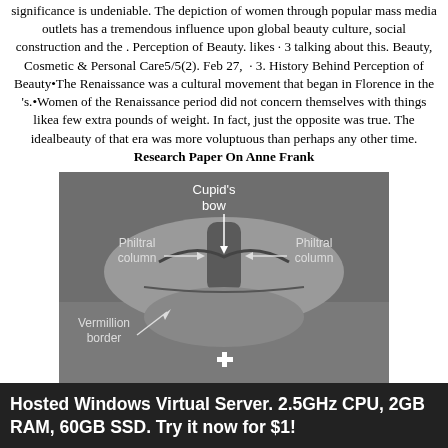significance is undeniable. The depiction of women through popular mass media outlets has a tremendous influence upon global beauty culture, social construction and the . Perception of Beauty. likes · 3 talking about this. Beauty, Cosmetic & Personal Care5/5(2). Feb 27, · 3. History Behind Perception of Beauty•The Renaissance was a cultural movement that began in Florence in the 's.•Women of the Renaissance period did not concern themselves with things likea few extra pounds of weight. In fact, just the opposite was true. The idealbeauty of that era was more voluptuous than perhaps any other time. Research Paper On Anne Frank
[Figure (photo): Grayscale anatomical diagram of lips labeling: Cupid's bow (top center with downward arrow), Philtral column (left and right with arrows pointing inward), Vermillion border (lower left with arrow pointing right), and a white cross/plus symbol at the bottom center.]
Hosted Windows Virtual Server. 2.5GHz CPU, 2GB RAM, 60GB SSD. Try it now for $1!